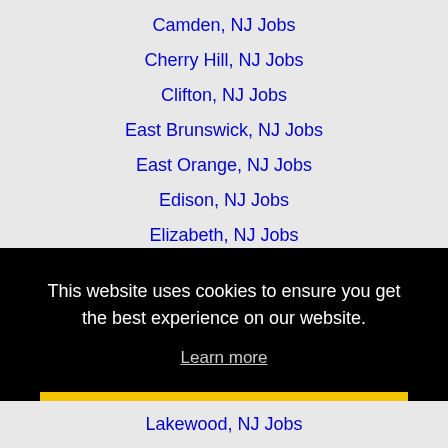Camden, NJ Jobs
Cherry Hill, NJ Jobs
Clifton, NJ Jobs
East Brunswick, NJ Jobs
East Orange, NJ Jobs
Edison, NJ Jobs
Elizabeth, NJ Jobs
Fairfield, CT Jobs
Freeport, NY Jobs
Greenwich, CT Jobs
This website uses cookies to ensure you get the best experience on our website.
Learn more
Got it!
Lakewood, NJ Jobs